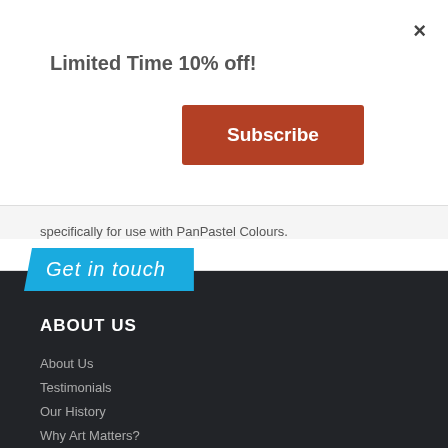×
Limited Time 10% off!
Subscribe
specifically for use with PanPastel Colours.
Get in touch
ABOUT US
About Us
Testimonials
Our History
Why Art Matters?
Sustainability
Blog Post